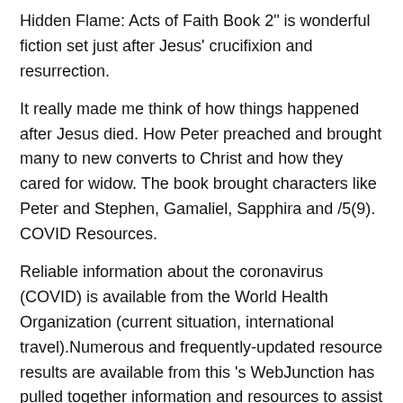Hidden Flame: Acts of Faith Book 2" is wonderful fiction set just after Jesus' crucifixion and resurrection.
It really made me think of how things happened after Jesus died. How Peter preached and brought many to new converts to Christ and how they cared for widow. The book brought characters like Peter and Stephen, Gamaliel, Sapphira and /5(9). COVID Resources.
Reliable information about the coronavirus (COVID) is available from the World Health Organization (current situation, international travel).Numerous and frequently-updated resource results are available from this 's WebJunction has pulled together information and resources to assist library staff as they consider how to handle coronavirus.
The Hidden Flame (Acts of Faith Book #2) - Ebook written by Janette Oke, Davis Bunn. Read this book using Google Play Books app on your PC, android, iOS devices.
Download for offline reading, highlight, bookmark or take notes while you read The Hidden Flame (Acts of Faith Book #2)/5(81). Sylvia